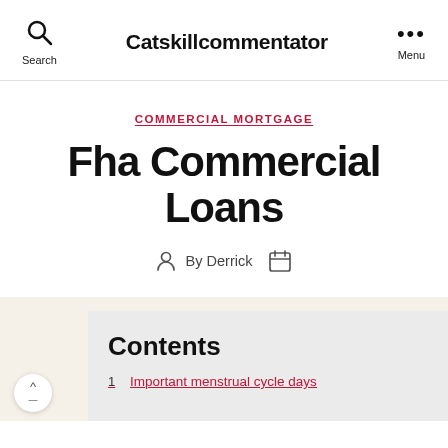Catskillcommentator
COMMERCIAL MORTGAGE
Fha Commercial Loans
By Derrick
Contents
Important menstrual cycle days